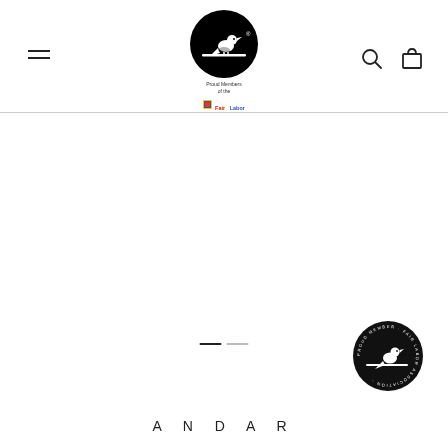[Figure (logo): Outerknown brand logo: black circle with a bird perched on a branch, above 'Proud Members of the Fair Labor Association' badge]
[Figure (logo): Circular black badge with Outerknown bird logo in white, with text around it]
ANDAR